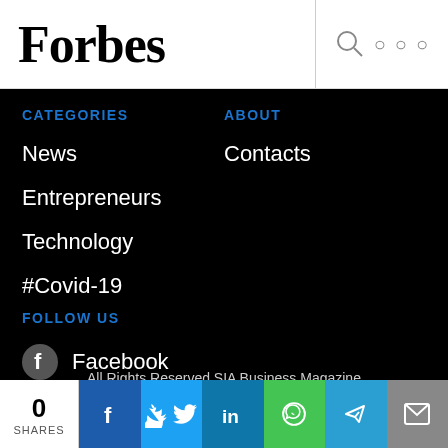Forbes
CATEGORIES
News
Entrepreneurs
Technology
#Covid-19
ABOUT
Contacts
FOLLOW US
Facebook
All Rights Reserved SIA Business Magazine
Site By Infinite Software
0 SHARES